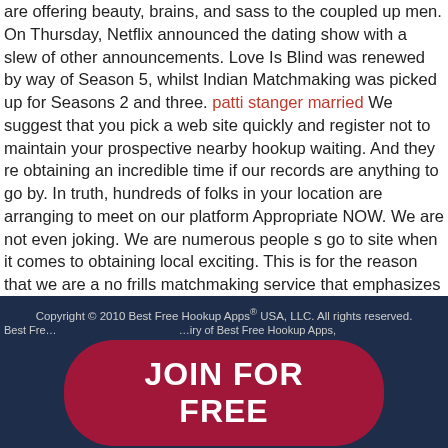are offering beauty, brains, and sass to the coupled up men. On Thursday, Netflix announced the dating show with a slew of other announcements. Love Is Blind was renewed by way of Season 5, whilst Indian Matchmaking was picked up for Seasons 2 and three. patti stanger married We suggest that you pick a web site quickly and register not to maintain your prospective nearby hookup waiting. And they re obtaining an incredible time if our records are anything to go by. In truth, hundreds of folks in your location are arranging to meet on our platform Appropriate NOW. We are not even joking. We are numerous people s go to site when it comes to obtaining local exciting. This is for the reason that we are a no frills matchmaking service that emphasizes casual hookups and delighted users.
Copyright © 2010 Best Free Hookup Apps® USA, LLC. All rights reserved. Best Free hookup Apps is a subsidiary of Best Free Hookup Apps, JOIN FOR FREE CT BACKGROUND OF THIS WEBSITE.